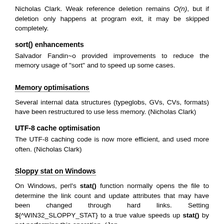Nicholas Clark. Weak reference deletion remains O(n), but if deletion only happens at program exit, it may be skipped completely.
sort() enhancements
Salvador Fandin~o provided improvements to reduce the memory usage of "sort" and to speed up some cases.
Memory optimisations
Several internal data structures (typeglobs, GVs, CVs, formats) have been restructured to use less memory. (Nicholas Clark)
UTF-8 cache optimisation
The UTF-8 caching code is now more efficient, and used more often. (Nicholas Clark)
Sloppy stat on Windows
On Windows, perl's stat() function normally opens the file to determine the link count and update attributes that may have been changed through hard links. Setting ${^WIN32_SLOPPY_STAT} to a true value speeds up stat() by not performing this operation. (Jan